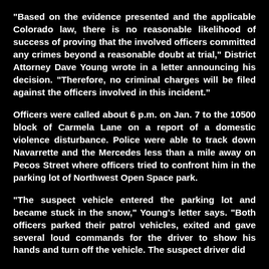“Based on the evidence presented and the applicable Colorado law, there is no reasonable likelihood of success of proving that the involved officers committed any crimes beyond a reasonable doubt at trial,” District Attorney Dave Young wrote in a letter announcing his decision. “Therefore, no criminal charges will be filed against the officers involved in this incident.”
Officers were called about 6 p.m. on Jan. 7 to the 10500 block of Carmela Lane on a report of a domestic violence disturbance. Police were able to track down Navarrette and the Mercedes less than a mile away on Pecos Street where officers tried to confront him in the parking lot of Northwest Open Space park.
“The suspect vehicle entered the parking lot and became stuck in the snow,” Young’s letter says. “Both officers parked their patrol vehicles, exited and gave several loud commands for the driver to show his hands and turn off the vehicle. The suspect driver did